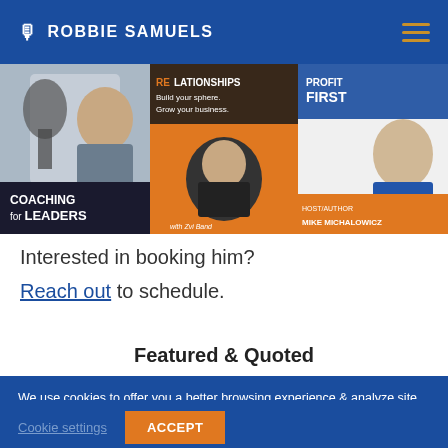🎙 ROBBIE SAMUELS
[Figure (photo): Three podcast cover images: Coaching for Leaders, Real Relationships (with Zvi Band), and Profit First (with Mike Michalowicz)]
Interested in booking him?
Reach out to schedule.
Featured & Quoted
We use cookies to offer you a better browsing experience & analyze site traffic. If you continue to use this site, you consent to our use of cookies. Learn more here.
Cookie settings  ACCEPT